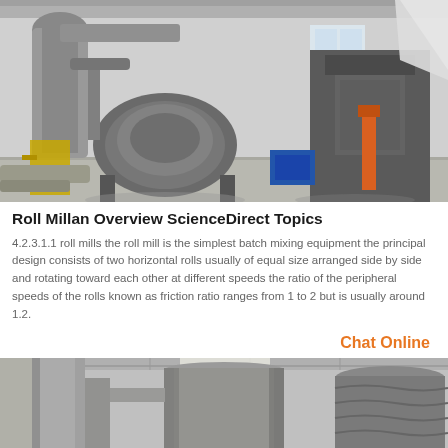[Figure (photo): Industrial factory interior with large roll mill machinery, cylindrical drums, ventilation ducts, hydraulic equipment visible on factory floor]
Roll Millan Overview ScienceDirect Topics
4.2.3.1.1 roll mills the roll mill is the simplest batch mixing equipment the principal design consists of two horizontal rolls usually of equal size arranged side by side and rotating toward each other at different speeds the ratio of the peripheral speeds of the rolls known as friction ratio ranges from 1 to 2 but is usually around 1.2.
Chat Online
[Figure (photo): Industrial facility interior with large cylindrical tanks or silos and metal ductwork/piping]